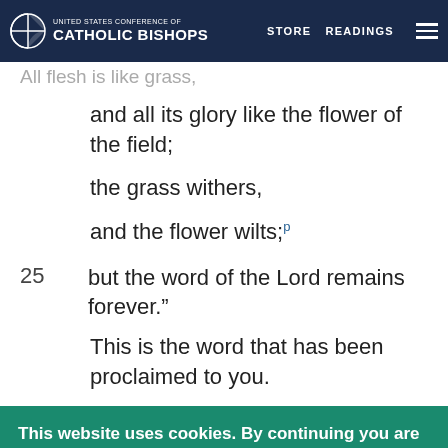United States Conference of Catholic Bishops | STORE | READINGS
All flesh is like grass,
and all its glory like the flower of the field;
the grass withers,
and the flower wilts;ᵖ
25  but the word of the Lord remains forever.”
This is the word that has been proclaimed to you.
This website uses cookies. By continuing you are agreeing to our Privacy Policy
CLOSE X